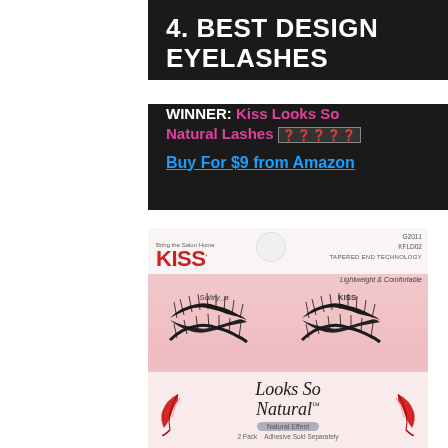4. BEST DESIGN EYELASHES
WINNER: Kiss Looks So Natural Lashes ★★★★★
Buy For $9 from Amazon
[Figure (photo): Kiss Looks So Natural Lashes product packaging showing two pairs of false eyelashes labeled 'Sultry_a' and 'KISS', with 'Looks So Natural' branding, tapered end technology, and red feather decorations on a pink background.]